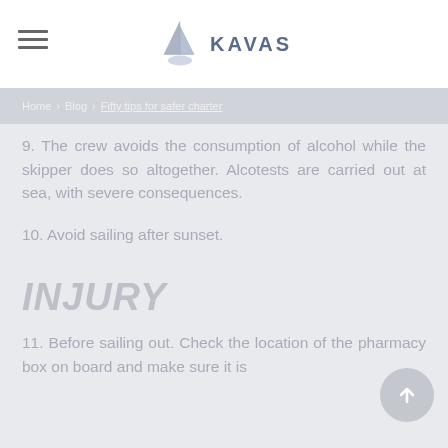KAVAS (logo navigation header)
Home > Blog > Fifty tips for safer charter
9. The crew avoids the consumption of alcohol while the skipper does so altogether. Alcotests are carried out at sea, with severe consequences.
10. Avoid sailing after sunset.
INJURY
11. Before sailing out. Check the location of the pharmacy box on board and make sure it is